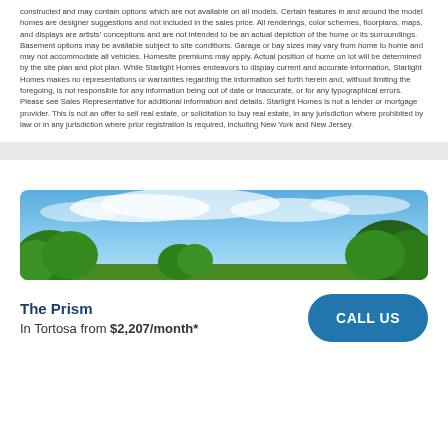constructed and may contain options which are not available on all models. Certain features in and around the model homes are designer suggestions and not included in the sales price. All renderings, color schemes, floorplans, maps, and displays are artists' conceptions and are not intended to be an actual depiction of the home or its surroundings. Basement options may be available subject to site conditions. Garage or bay sizes may vary from home to home and may not accommodate all vehicles. Homesite premiums may apply. Actual position of home on lot will be determined by the site plan and plot plan. While Starlight Homes endeavors to display current and accurate information, Starlight Homes makes no representations or warranties regarding the information set forth herein and, without limiting the foregoing, is not responsible for any information being out of date or inaccurate, or for any typographical errors. Please see Sales Representative for additional information and details. Starlight Homes is not a lender or mortgage provider. This is not an offer to sell real estate, or solicitation to buy real estate, in any jurisdiction where prohibited by law or in any jurisdiction where prior registration is required, including New York and New Jersey.
[Figure (photo): Outdoor photo showing a blue sky with white clouds and green trees]
The Prism
In Tortosa from $2,207/month*